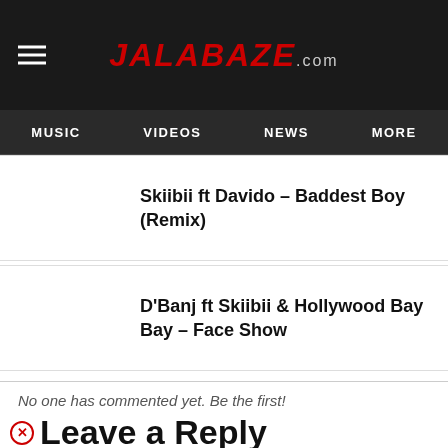JALABAZE.com
MUSIC   VIDEOS   NEWS   MORE
Skiibii ft Davido – Baddest Boy (Remix)
D'Banj ft Skiibii & Hollywood Bay Bay – Face Show
No one has commented yet. Be the first!
Leave a Reply